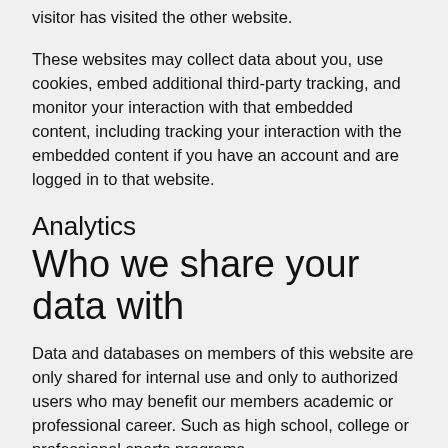visitor has visited the other website.
These websites may collect data about you, use cookies, embed additional third-party tracking, and monitor your interaction with that embedded content, including tracking your interaction with the embedded content if you have an account and are logged in to that website.
Analytics
Who we share your data with
Data and databases on members of this website are only shared for internal use and only to authorized users who may benefit our members academic or professional career. Such as high school, college or professional sports programs.
How long we retain your data